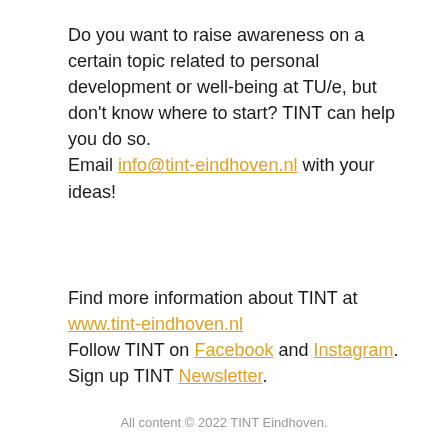Do you want to raise awareness on a certain topic related to personal development or well-being at TU/e, but don't know where to start? TINT can help you do so. Email info@tint-eindhoven.nl with your ideas!
Find more information about TINT at www.tint-eindhoven.nl Follow TINT on Facebook and Instagram. Sign up TINT Newsletter.
All content © 2022 TINT Eindhoven.